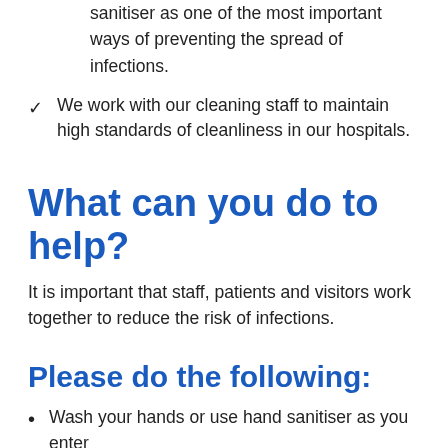sanitiser as one of the most important ways of preventing the spread of infections.
We work with our cleaning staff to maintain high standards of cleanliness in our hospitals.
What can you do to help?
It is important that staff, patients and visitors work together to reduce the risk of infections.
Please do the following:
Wash your hands or use hand sanitiser as you enter